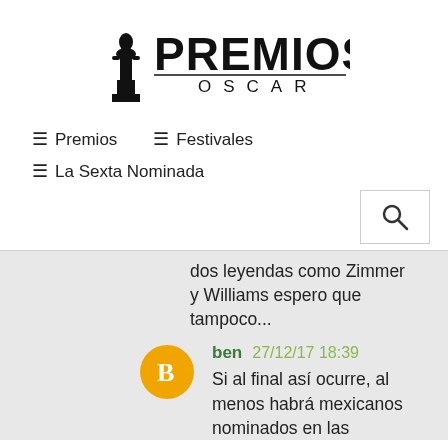[Figure (logo): Premios Oscar logo with Oscar statuette and bold text PREMIOS OSCAR]
≡ Premios   ≡ Festivales
≡ La Sexta Nominada
dos leyendas como Zimmer y Williams espero que tampoco...
ben 27/12/17 18:39
Si al final así ocurre, al menos habrá mexicanos nominados en las